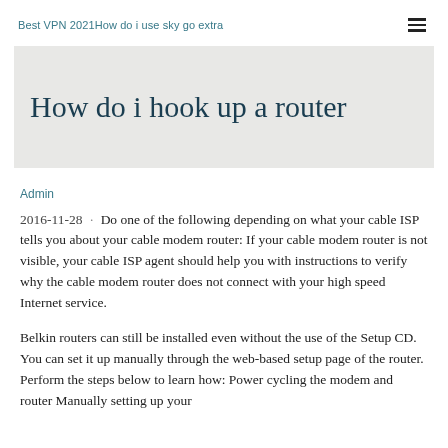Best VPN 2021How do i use sky go extra
How do i hook up a router
Admin
2016-11-28 · Do one of the following depending on what your cable ISP tells you about your cable modem router: If your cable modem router is not visible, your cable ISP agent should help you with instructions to verify why the cable modem router does not connect with your high speed Internet service.
Belkin routers can still be installed even without the use of the Setup CD. You can set it up manually through the web-based setup page of the router. Perform the steps below to learn how: Power cycling the modem and router Manually setting up your